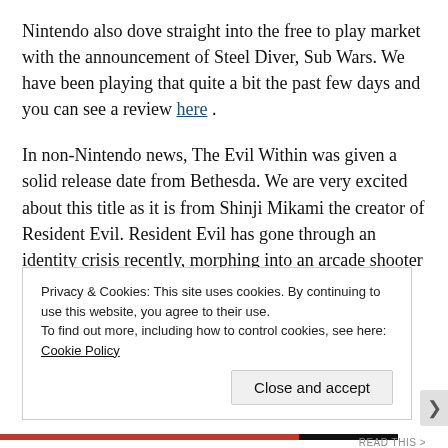Nintendo also dove straight into the free to play market with the announcement of Steel Diver, Sub Wars. We have been playing that quite a bit the past few days and you can see a review here.
In non-Nintendo news, The Evil Within was given a solid release date from Bethesda. We are very excited about this title as it is from Shinji Mikami the creator of Resident Evil. Resident Evil has gone through an identity crisis recently, morphing into an arcade shooter and losing the horrifying elements that gave the series the massive fan base it has seemingly deserted.
Privacy & Cookies: This site uses cookies. By continuing to use this website, you agree to their use.
To find out more, including how to control cookies, see here: Cookie Policy
Close and accept